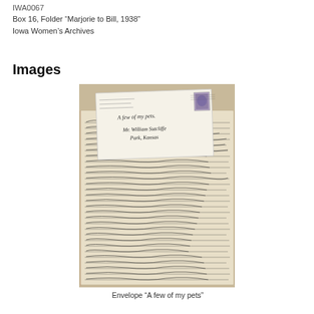IWA0067
Box 16, Folder “Marjorie to Bill, 1938”
Iowa Women’s Archives
Images
[Figure (photo): Photograph of a handwritten letter envelope addressed to Mr. William Sutcliffe, Park, Kansas, with a postage stamp, resting on top of a handwritten letter page. The envelope has a note reading 'A few of my pets'.]
Envelope “A few of my pets”